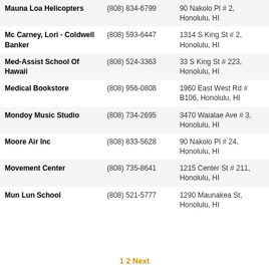| Name | Phone | Address |
| --- | --- | --- |
| Mauna Loa Helicopters | (808) 834-6799 | 90 Nakolo Pl # 2, Honolulu, HI |
| Mc Carney, Lori - Coldwell Banker | (808) 593-6447 | 1314 S King St # 2, Honolulu, HI |
| Med-Assist School Of Hawaii | (808) 524-3363 | 33 S King St # 223, Honolulu, HI |
| Medical Bookstore | (808) 956-0808 | 1960 East West Rd # B106, Honolulu, HI |
| Mondoy Music Studio | (808) 734-2695 | 3470 Waialae Ave # 3, Honolulu, HI |
| Moore Air Inc | (808) 833-5628 | 90 Nakolo Pl # 24, Honolulu, HI |
| Movement Center | (808) 735-8641 | 1215 Center St # 211, Honolulu, HI |
| Mun Lun School | (808) 521-5777 | 1290 Maunakea St, Honolulu, HI |
1 2 Next